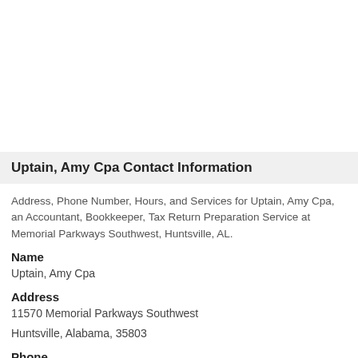Uptain, Amy Cpa Contact Information
Address, Phone Number, Hours, and Services for Uptain, Amy Cpa, an Accountant, Bookkeeper, Tax Return Preparation Service at Memorial Parkways Southwest, Huntsville, AL.
Name
Uptain, Amy Cpa
Address
11570 Memorial Parkways Southwest
Huntsville, Alabama, 35803
Phone
256-880-8008